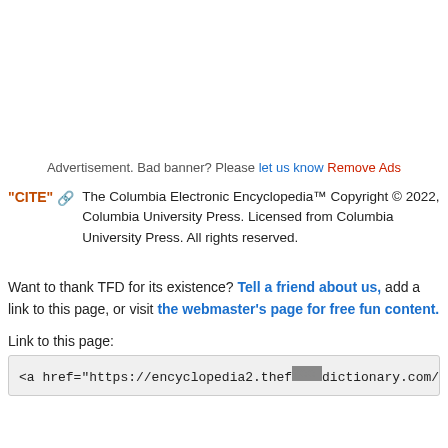Advertisement. Bad banner? Please let us know Remove Ads
"CITE" 🔗 The Columbia Electronic Encyclopedia™ Copyright © 2022, Columbia University Press. Licensed from Columbia University Press. All rights reserved.
Want to thank TFD for its existence? Tell a friend about us, add a link to this page, or visit the webmaster's page for free fun content.
Link to this page:
<a href="https://encyclopedia2.thefreedictionary.com/Naypyidaw">Naypyi